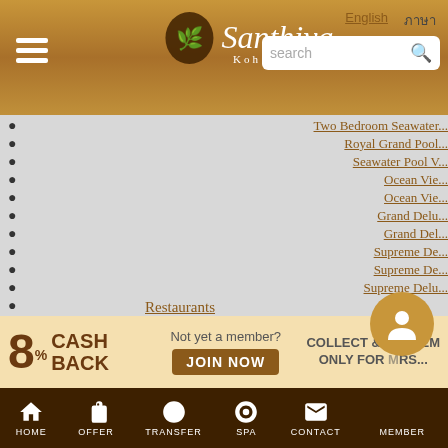Santhiya Koh Yao Yai - header with logo, language selector, and search bar
Two Bedroom Seawater...
Royal Grand Pool...
Seawater Pool V...
Ocean Vie...
Ocean Vie...
Grand Delu...
Grand Del...
Supreme De...
Supreme De...
Supreme Delu...
Restaurants
Chantara...
By The Sea Re...
The Titan Grill (Tempora...
Saaitara Restaura...
Jetinn Teppan at ...
Jenita Beach Club (Tempo...
Khantok Thai Cuisin...
Privat...
In-roo...
8% CASH BACK
Not yet a member?
JOIN NOW
COLLECT & REDEEM ONLY FOR MEMBERS
HOME | OFFER | TRANSFER | SPA | CONTACT | MEMBER